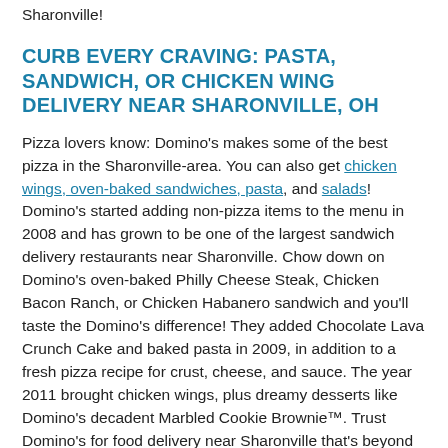Sharonville!
CURB EVERY CRAVING: PASTA, SANDWICH, OR CHICKEN WING DELIVERY NEAR SHARONVILLE, OH
Pizza lovers know: Domino's makes some of the best pizza in the Sharonville-area. You can also get chicken wings, oven-baked sandwiches, pasta, and salads! Domino's started adding non-pizza items to the menu in 2008 and has grown to be one of the largest sandwich delivery restaurants near Sharonville. Chow down on Domino's oven-baked Philly Cheese Steak, Chicken Bacon Ranch, or Chicken Habanero sandwich and you'll taste the Domino's difference! They added Chocolate Lava Crunch Cake and baked pasta in 2009, in addition to a fresh pizza recipe for crust, cheese, and sauce. The year 2011 brought chicken wings, plus dreamy desserts like Domino's decadent Marbled Cookie Brownie™. Trust Domino's for food delivery near Sharonville that's beyond good. Your local Domino's can't wait to satisfy your cravings with a colorful salad, handcrafted pasta, pizza, or sandwich!